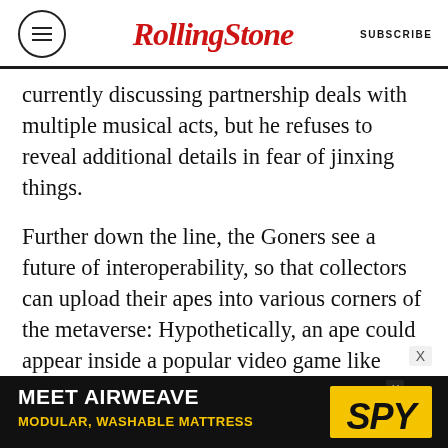Rolling Stone | SUBSCRIBE
currently discussing partnership deals with multiple musical acts, but he refuses to reveal additional details in fear of jinxing things.
Further down the line, the Goners see a future of interoperability, so that collectors can upload their apes into various corners of the metaverse: Hypothetically, an ape could appear inside a popular video game like Fortnite, and the user could dress it in digital versions of Bored Ape Yacht Club merch. “We want to encourage that as much as possible,” says Gargamel. “We’re making three-dimensional models of everybody’s ape now. But,
[Figure (infographic): Advertisement banner for Airweave mattress with SPY logo on dark background. Text: MEET AIRWEAVE / MODULAR, WASHABLE MATTRESS]